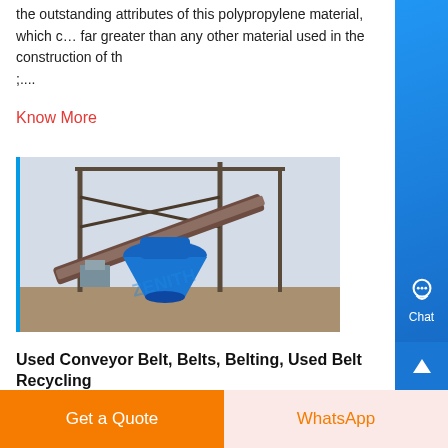the outstanding attributes of this polypropylene material, which c… far greater than any other material used in the construction of th ;....
Know More
[Figure (photo): Industrial conveyor belt system with a large blue cone crusher machine visible under a steel frame structure outdoors. Watermark 'ZENITH' visible on image.]
Used Conveyor Belt, Belts, Belting, Used Belt Recycling
Used conveyor belt exhibits the same strength capabilities of ne belting and can reduce costs 50 to 85 of the cost of a new belt while providing years of service Contact MIPR Corp today at 18005431040...